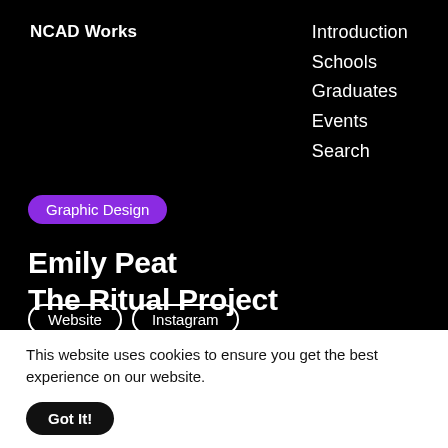NCAD Works
Introduction
Schools
Graduates
Events
Search
Graphic Design
Emily Peat
The Ritual Project
Website   Instagram
This website uses cookies to ensure you get the best experience on our website.
Got It!